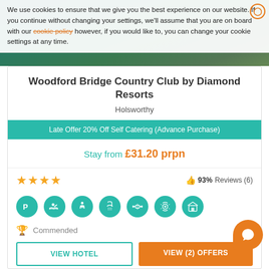We use cookies to ensure that we give you the best experience on our website. If you continue without changing your settings, we'll assume that you are on board with our cookie policy however, if you would like to, you can change your cookie settings at any time.
Woodford Bridge Country Club by Diamond Resorts
Holsworthy
Late Offer 20% Off Self Catering (Advance Purchase)
Stay from £31.20 prpn
93% Reviews (6)
Commended
VIEW HOTEL
VIEW (2) OFFERS